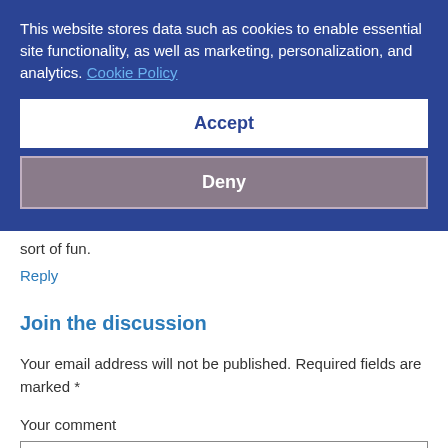This website stores data such as cookies to enable essential site functionality, as well as marketing, personalization, and analytics. Cookie Policy
Accept
Deny
sort of fun.
Reply
Join the discussion
Your email address will not be published. Required fields are marked *
Your comment